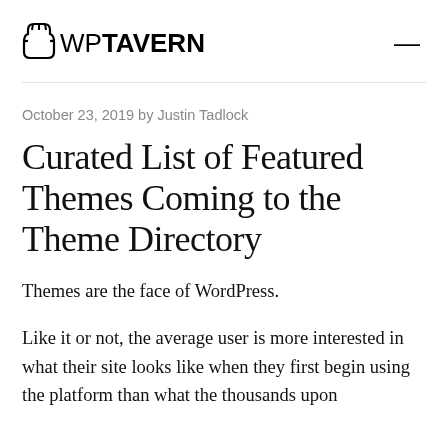WP TAVERN
October 23, 2019 by Justin Tadlock
Curated List of Featured Themes Coming to the Theme Directory
Themes are the face of WordPress.
Like it or not, the average user is more interested in what their site looks like when they first begin using the platform than what the thousands upon